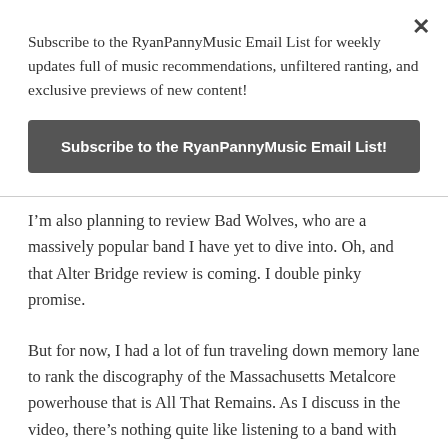Subscribe to the RyanPannyMusic Email List for weekly updates full of music recommendations, unfiltered ranting, and exclusive previews of new content!
Subscribe to the RyanPannyMusic Email List!
I’m also planning to review Bad Wolves, who are a massively popular band I have yet to dive into. Oh, and that Alter Bridge review is coming. I double pinky promise.
But for now, I had a lot of fun traveling down memory lane to rank the discography of the Massachusetts Metalcore powerhouse that is All That Remains. As I discuss in the video, there’s nothing quite like listening to a band with the context of their entire career arc at the